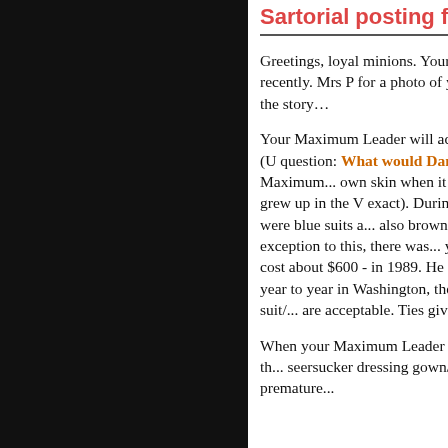Sartorial posting for Mi...
Greetings, loyal minions. Your Maximum Leader wore his new seersucker suit recently. Mrs P for a photo of your Maximum Leader... the photo we must have the story…
Your Maximum Leader will admit that he have one. He's never really had one. (U question: What would Daniel Patrick Mo... much of a fashion sense. Your Maximum... own skin when it comes to deviation fro... Your Maximum Leader grew up in the V exact). During his formative years, dres... men's fashion. There were blue suits a... also brown suits, but your Maximum Le... noteworthy exception to this, there was... your Maximum Leader fell in love with v... as it cost about $600 - in 1989. He still doesn't have enough fabric in it to be ta... year to year in Washington, the ties cha... Maximum Leader has been a blue suit/... are acceptable. Ties give color.
When your Maximum Leader went to c... dress khakis. But he also discovered th... seersucker dressing gown/bathrobe. Th... that seersucker jacket died a premature...